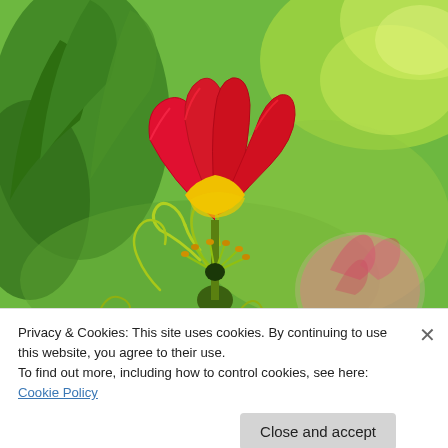[Figure (photo): Close-up photograph of a Gloriosa lily (flame lily) with vivid red and yellow petals curling backwards and green curling tendrils, set against a blurred green bokeh background. A second blurred pink-red flower is visible in the lower right.]
Privacy & Cookies: This site uses cookies. By continuing to use this website, you agree to their use.
To find out more, including how to control cookies, see here: Cookie Policy
Close and accept